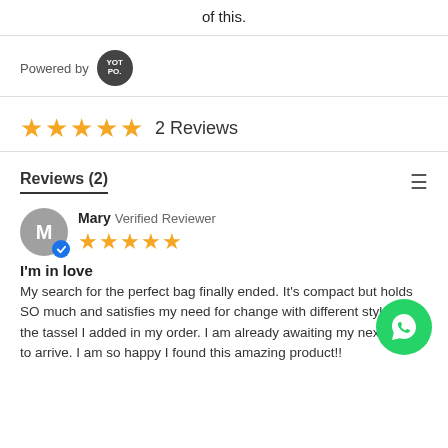of this.
Powered by YOTPO
★★★★★ 2 Reviews
Reviews (2)
Mary Verified Reviewer ★★★★★
I'm in love
My search for the perfect bag finally ended. It's compact but holds SO much and satisfies my need for change with different styles and the tassel I added in my order. I am already awaiting my next color to arrive. I am so happy I found this amazing product!!